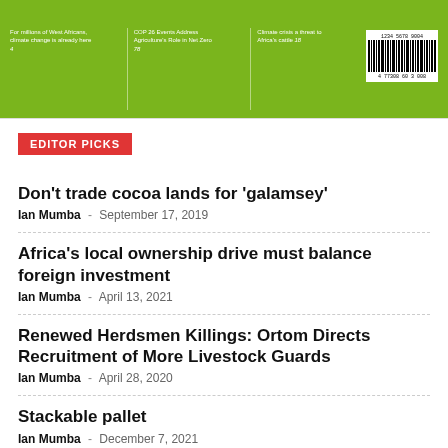[Figure (other): Green magazine banner header with three text columns and a barcode on the right]
EDITOR PICKS
Don’t trade cocoa lands for ‘galamsey’
Ian Mumba - September 17, 2019
Africa’s local ownership drive must balance foreign investment
Ian Mumba - April 13, 2021
Renewed Herdsmen Killings: Ortom Directs Recruitment of More Livestock Guards
Ian Mumba - April 28, 2020
Stackable pallet
Ian Mumba - December 7, 2021